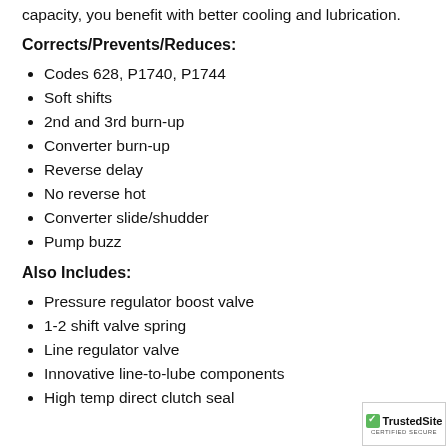capacity, you benefit with better cooling and lubrication.
Corrects/Prevents/Reduces:
Codes 628, P1740, P1744
Soft shifts
2nd and 3rd burn-up
Converter burn-up
Reverse delay
No reverse hot
Converter slide/shudder
Pump buzz
Also Includes:
Pressure regulator boost valve
1-2 shift valve spring
Line regulator valve
Innovative line-to-lube components
High temp direct clutch seal